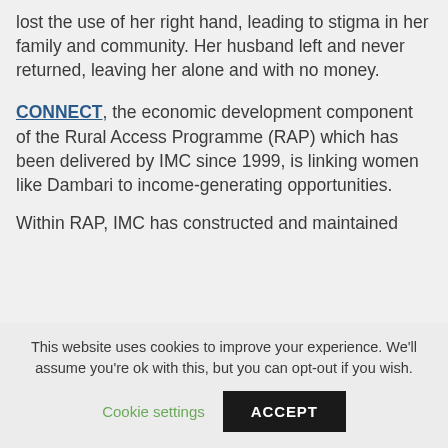lost the use of her right hand, leading to stigma in her family and community. Her husband left and never returned, leaving her alone and with no money.
CONNECT, the economic development component of the Rural Access Programme (RAP) which has been delivered by IMC since 1999, is linking women like Dambari to income-generating opportunities.
Within RAP, IMC has constructed and maintained
This website uses cookies to improve your experience. We'll assume you're ok with this, but you can opt-out if you wish.
Cookie settings
ACCEPT